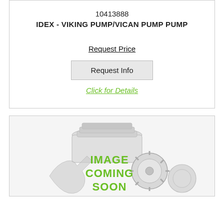10413888
IDEX - VIKING PUMP/VICAN PUMP PUMP
Request Price
Request Info
Click for Details
[Figure (photo): Placeholder image showing mechanical parts (piston, gears) with text IMAGE COMING SOON overlaid in green]